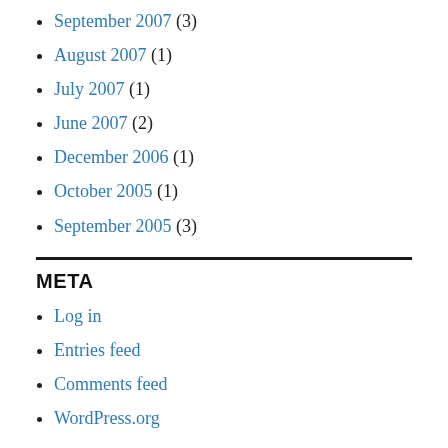September 2007 (3)
August 2007 (1)
July 2007 (1)
June 2007 (2)
December 2006 (1)
October 2005 (1)
September 2005 (3)
META
Log in
Entries feed
Comments feed
WordPress.org